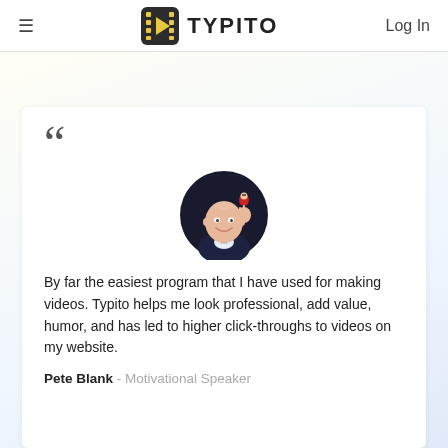≡  TYPITO  Log In
[Figure (photo): Circular profile photo of Pete Blank, a man in a dark suit holding a small doll/figure, smiling, on a dark background]
By far the easiest program that I have used for making videos. Typito helps me look professional, add value, humor, and has led to higher click-throughs to videos on my website.
Pete Blank - Motivational Speaker